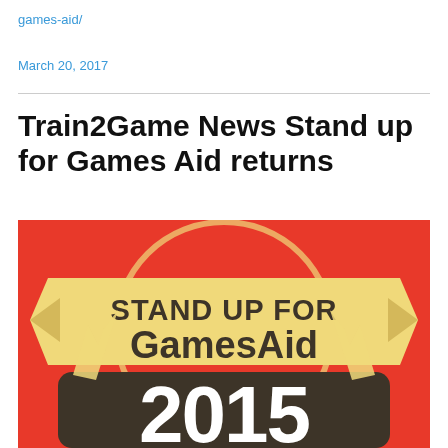games-aid/
March 20, 2017
Train2Game News Stand up for Games Aid returns
[Figure (illustration): Stand Up For GamesAid 2015 promotional banner graphic with red background, yellow banner ribbon reading 'STAND UP FOR GamesAid' and large '2015' text below in dark color on a circular badge shape.]